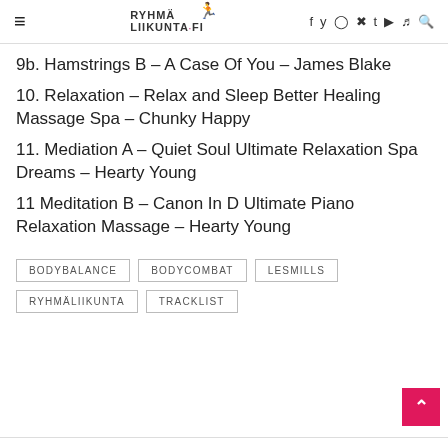Ryhmaliikunta.fi — navigation header with social icons
9b. Hamstrings B – A Case Of You – James Blake
10. Relaxation – Relax and Sleep Better Healing Massage Spa – Chunky Happy
11. Mediation A – Quiet Soul Ultimate Relaxation Spa Dreams – Hearty Young
11 Meditation B – Canon In D Ultimate Piano Relaxation Massage – Hearty Young
BODYBALANCE  BODYCOMBAT  LESMILLS  RYHMÄLIIKUNTA  TRACKLIST